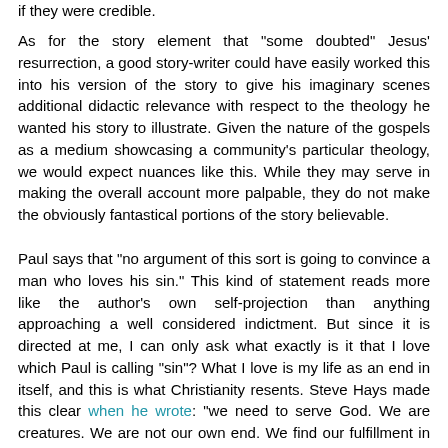if they were credible.
As for the story element that "some doubted" Jesus' resurrection, a good story-writer could have easily worked this into his version of the story to give his imaginary scenes additional didactic relevance with respect to the theology he wanted his story to illustrate. Given the nature of the gospels as a medium showcasing a community's particular theology, we would expect nuances like this. While they may serve in making the overall account more palpable, they do not make the obviously fantastical portions of the story believable.
Paul says that "no argument of this sort is going to convince a man who loves his sin." This kind of statement reads more like the author's own self-projection than anything approaching a well considered indictment. But since it is directed at me, I can only ask what exactly is it that I love which Paul is calling "sin"? What I love is my life as an end in itself, and this is what Christianity resents. Steve Hays made this clear when he wrote: "we need to serve God. We are creatures. We are not our own end. We find our fulfillment in serving one greater than ourselves." The view